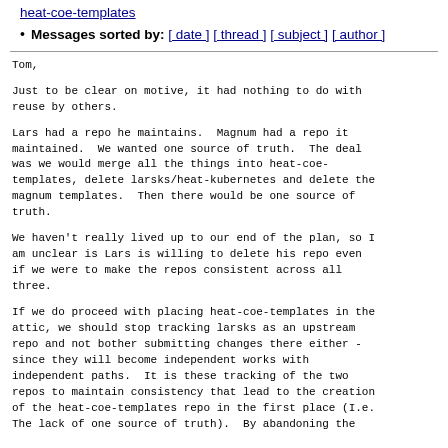heat-coe-templates
Messages sorted by: [ date ] [ thread ] [ subject ] [ author ]
Tom,

Just to be clear on motive, it had nothing to do with
reuse by others.

Lars had a repo he maintains.  Magnum had a repo it
maintained.  We wanted one source of truth.  The deal
was we would merge all the things into heat-coe-
templates, delete larsks/heat-kubernetes and delete the
magnum templates.  Then there would be one source of
truth.

We haven't really lived up to our end of the plan, so I
am unclear is Lars is willing to delete his repo even
if we were to make the repos consistent across all
three.

If we do proceed with placing heat-coe-templates in the
attic, we should stop tracking larsks as an upstream
repo and not bother submitting changes there either -
since they will become independent works with
independent paths.  It is these tracking of the two
repos to maintain consistency that lead to the creation
of the heat-coe-templates repo in the first place (I.e.
The lack of one source of truth).  By abandoning the